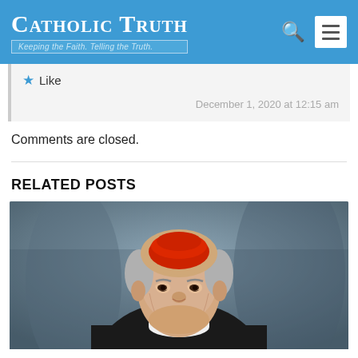Catholic Truth – Keeping the Faith. Telling the Truth.
Like
December 1, 2020 at 12:15 am
Comments are closed.
RELATED POSTS
[Figure (photo): Portrait photo of a Catholic cardinal wearing red zucchetto and black clerical clothing with white collar, an elderly man with grey hair smiling slightly]